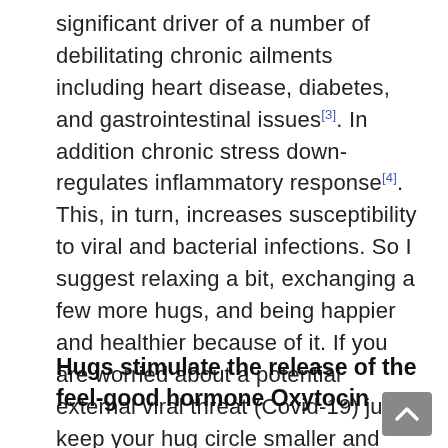significant driver of a number of debilitating chronic ailments including heart disease, diabetes, and gastrointestinal issues[3]. In addition chronic stress down-regulates inflammatory response[4]. This, in turn, increases susceptibility to viral and bacterial infections. So I suggest relaxing a bit, exchanging a few more hugs, and being happier and healthier because of it. If you are worried about a potential external viral threat (Covid-19) just keep your hug circle smaller and even more intimate!
Hugs stimulate the release of the feel-good hormone Oxytocin